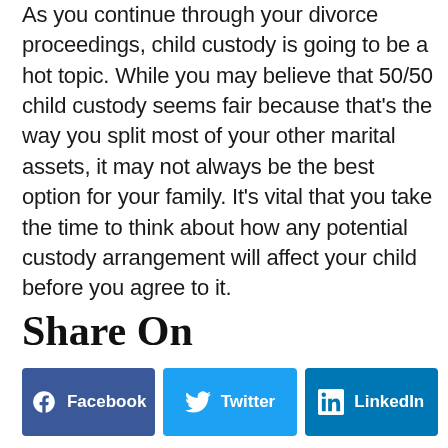As you continue through your divorce proceedings, child custody is going to be a hot topic. While you may believe that 50/50 child custody seems fair because that's the way you split most of your other marital assets, it may not always be the best option for your family. It's vital that you take the time to think about how any potential custody arrangement will affect your child before you agree to it.
Share On
[Figure (other): Social share buttons for Facebook, Twitter, and LinkedIn]